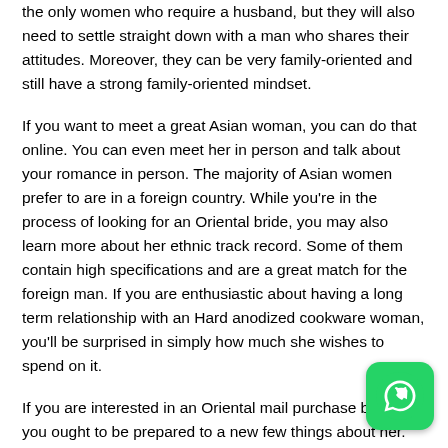the only women who require a husband, but they will also need to settle straight down with a man who shares their attitudes. Moreover, they can be very family-oriented and still have a strong family-oriented mindset.
If you want to meet a great Asian woman, you can do that online. You can even meet her in person and talk about your romance in person. The majority of Asian women prefer to are in a foreign country. While you're in the process of looking for an Oriental bride, you may also learn more about her ethnic track record. Some of them contain high specifications and are a great match for the foreign man. If you are enthusiastic about having a long term relationship with an Hard anodized cookware woman, you'll be surprised in simply how much she wishes to spend on it.
If you are interested in an Oriental mail purchase bride, you ought to be prepared to a new few things about her. The majority of Asian mail order birdes-to-be have extremely high moral criteria and are extremely respectful of males. They do not ever
[Figure (logo): WhatsApp logo icon — green rounded square with white phone/chat bubble symbol, bottom-right corner]